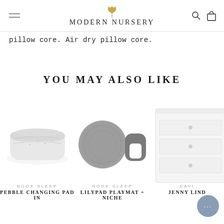MODERN NURSERY
pillow core. Air dry pillow core.
YOU MAY ALSO LIKE
[Figure (photo): Nook Sleep Pebble changing pad in white/grey]
NOOK SLEEP
PEBBLE CHANGING PAD IN
[Figure (photo): Nook Sleep Lilypad playmat and niche pillow in grey]
NOOK SLEEP
LILYPAD PLAYMAT + NICHE
[Figure (photo): DAVI Jenny Lind dresser in white, partially visible]
DAVI
JENNY LIND